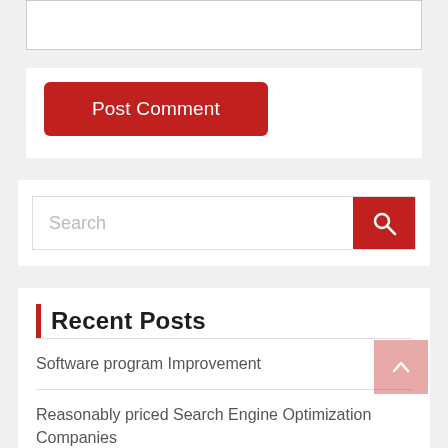[Figure (screenshot): Empty comment text input box with border]
[Figure (screenshot): Red 'Post Comment' button]
[Figure (screenshot): Search input field with red search button containing magnifying glass icon]
Recent Posts
Software program Improvement
Reasonably priced Search Engine Optimization Companies
Amazon Inventory Management: 3 Ways to Manage